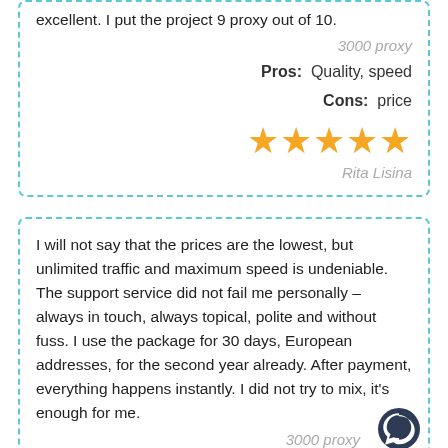excellent. I put the project 9 proxy out of 10.
3000 proxy
Pros: Quality, speed
Cons: price
[Figure (other): 5 gold star rating]
Rita Lisina
I will not say that the prices are the lowest, but unlimited traffic and maximum speed is undeniable. The support service did not fail me personally – always in touch, always topical, polite and without fuss. I use the package for 30 days, European addresses, for the second year already. After payment, everything happens instantly. I did not try to mix, it's enough for me.
3000 proxy